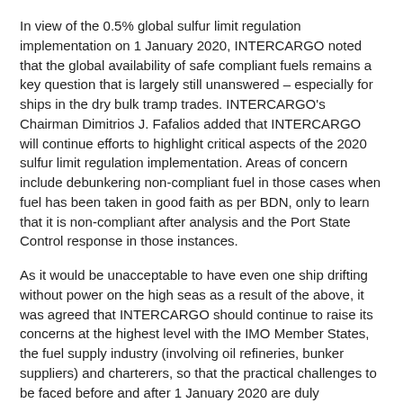In view of the 0.5% global sulfur limit regulation implementation on 1 January 2020, INTERCARGO noted that the global availability of safe compliant fuels remains a key question that is largely still unanswered – especially for ships in the dry bulk tramp trades. INTERCARGO's Chairman Dimitrios J. Fafalios added that INTERCARGO will continue efforts to highlight critical aspects of the 2020 sulfur limit regulation implementation. Areas of concern include debunkering non-compliant fuel in those cases when fuel has been taken in good faith as per BDN, only to learn that it is non-compliant after analysis and the Port State Control response in those instances.
As it would be unacceptable to have even one ship drifting without power on the high seas as a result of the above, it was agreed that INTERCARGO should continue to raise its concerns at the highest level with the IMO Member States, the fuel supply industry (involving oil refineries, bunker suppliers) and charterers, so that the practical challenges to be faced before and after 1 January 2020 are duly addressed. INTERCARGO regrets that the fuel supply industry has been unable to provide sufficient quantities of representative compliant fuels at an early enough stage for reliable testing on board. This situation creates significant safety implications for the operation of ships